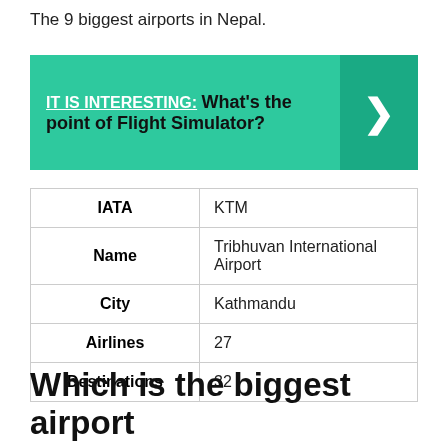The 9 biggest airports in Nepal.
[Figure (infographic): Green banner with IT IS INTERESTING: label underlined, followed by bold text 'What's the point of Flight Simulator?' and a right-arrow chevron on a darker green panel on the right.]
| IATA | KTM |
| Name | Tribhuvan International Airport |
| City | Kathmandu |
| Airlines | 27 |
| Destinations | 32 |
Which is the biggest airport